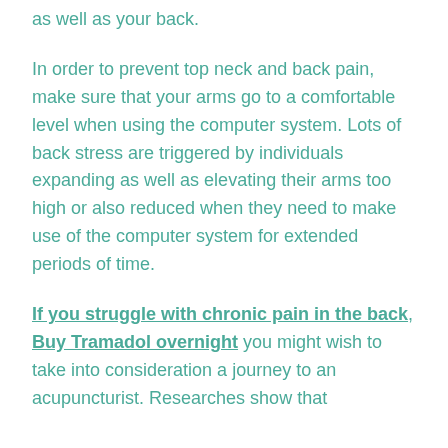as well as your back.
In order to prevent top neck and back pain, make sure that your arms go to a comfortable level when using the computer system. Lots of back stress are triggered by individuals expanding as well as elevating their arms too high or also reduced when they need to make use of the computer system for extended periods of time.
If you struggle with chronic pain in the back, Buy Tramadol overnight you might wish to take into consideration a journey to an acupuncturist. Researches show that acupuncturists this ancient Chi...